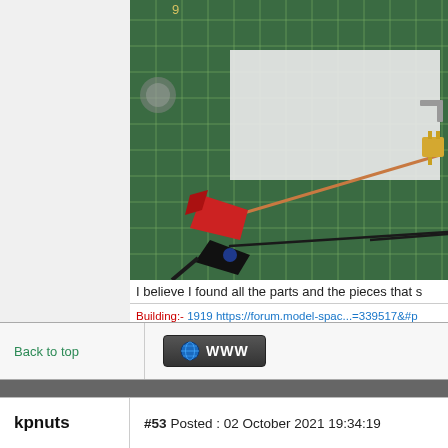[Figure (photo): Photo of model ship parts and tools on a green cutting mat. Visible items include copper wire, black wire, alligator clips (red and black), brass fittings, and white foam board.]
I believe I found all the parts and the pieces that s
Building:- 1919 https://forum.model-spac...=339517&#p
Built:-. HMS Bounty. RMS Titanic. MP4-23. Flying Scot... plus many plastic kits.
Dry dock no room to display:-. Bismarck. U96.
To build:-. HMS Hood. HMS Victory. Cutty Sark. SoS. L
Back to top
[Figure (other): WWW button with globe icon]
kpnuts
#53 Posted : 02 October 2021 19:34:19